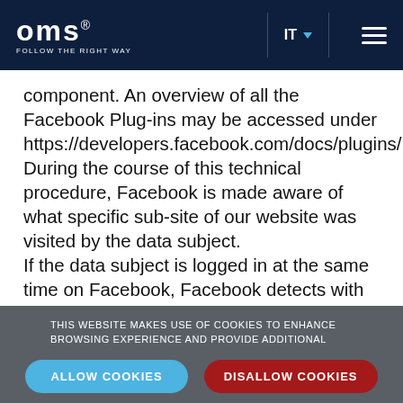OMS — FOLLOW THE RIGHT WAY | IT
component. An overview of all the Facebook Plug-ins may be accessed under https://developers.facebook.com/docs/plugins/. During the course of this technical procedure, Facebook is made aware of what specific sub-site of our website was visited by the data subject. If the data subject is logged in at the same time on Facebook, Facebook detects with every call-up to our website by the data subject—and for the entire
THIS WEBSITE MAKES USE OF COOKIES TO ENHANCE BROWSING EXPERIENCE AND PROVIDE ADDITIONAL FUNCTIONALITY. DETAILS
ALLOW COOKIES | DISALLOW COOKIES